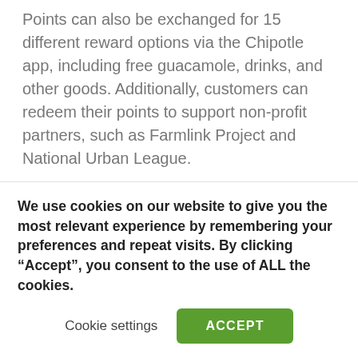Points can also be exchanged for 15 different reward options via the Chipotle app, including free guacamole, drinks, and other goods. Additionally, customers can redeem their points to support non-profit partners, such as Farmlink Project and National Urban League.
Video games have become a mainstream channel for online engagement and sales. Chipotle came up with a fun way to demonstrate how to establish brand loyalty while their customers earn rewards in an engaging way. (View source)
We use cookies on our website to give you the most relevant experience by remembering your preferences and repeat visits. By clicking “Accept”, you consent to the use of ALL the cookies.
Cookie settings | ACCEPT